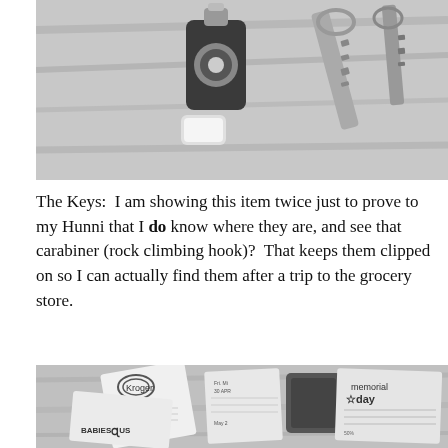[Figure (photo): Black and white photo of keys with a carabiner/rock climbing hook and a key fob on a wooden surface]
The Keys:  I am showing this item twice just to prove to my Hunni that I do know where they are, and see that carabiner (rock climbing hook)?  That keeps them clipped on so I can actually find them after a trip to the grocery store.
[Figure (photo): Black and white photo of various store receipts and coupons including Kroger, Babies R Us, and a Memorial Day advertisement on a wooden surface]